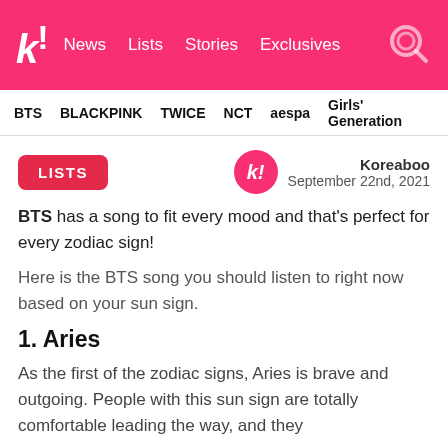k! News Lists Stories Exclusives
BTS BLACKPINK TWICE NCT aespa Girls' Generation
LISTS
Koreaboo
September 22nd, 2021
BTS has a song to fit every mood and that's perfect for every zodiac sign!
Here is the BTS song you should listen to right now based on your sun sign.
1. Aries
As the first of the zodiac signs, Aries is brave and outgoing. People with this sun sign are totally comfortable leading the way, and they